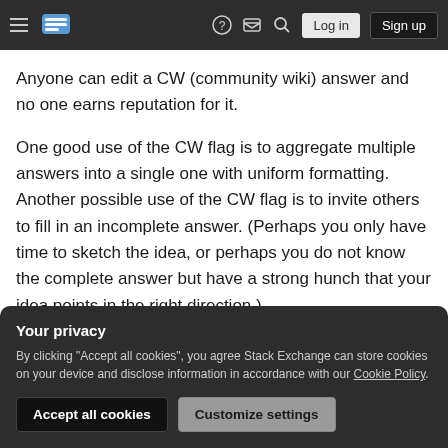Stack Exchange navigation bar with hamburger menu, logo, help, inbox, search, Log in, Sign up buttons
Anyone can edit a CW (community wiki) answer and no one earns reputation for it.
One good use of the CW flag is to aggregate multiple answers into a single one with uniform formatting. Another possible use of the CW flag is to invite others to fill in an incomplete answer. (Perhaps you only have time to sketch the idea, or perhaps you do not know the complete answer but have a strong hunch that your idea points in the right direction.)
Your privacy
By clicking "Accept all cookies", you agree Stack Exchange can store cookies on your device and disclose information in accordance with our Cookie Policy.
Accept all cookies | Customize settings